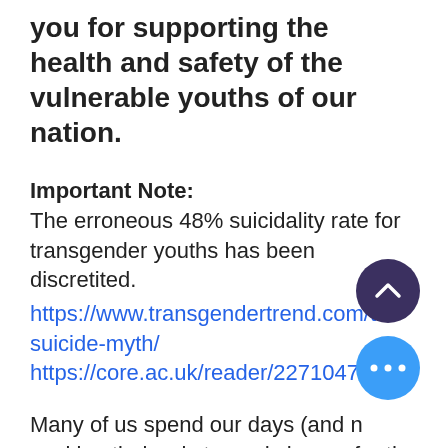you for supporting the health and safety of the vulnerable youths of our nation.
Important Note:
The erroneous 48% suicidality rate for transgender youths has been discretited.
https://www.transgendertrend.com/the-suicide-myth/
https://core.ac.uk/reader/227104785
Many of us spend our days (and n working tirelessly toward change for the children of the Western World in the face of what can be described as youth-trans epidemic. As the mother of